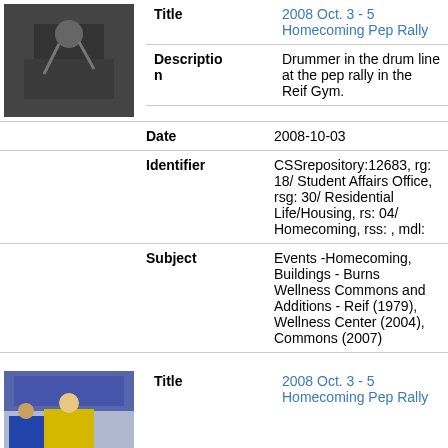[Figure (photo): Drummer in the drum line at a pep rally, black and white/color photo]
| Field | Value |
| --- | --- |
| Title | 2008 Oct. 3 - 5 Homecoming Pep Rally |
| Description | Drummer in the drum line at the pep rally in the Reif Gym. |
| Date | 2008-10-03 |
| Identifier | CSSrepository:12683, rg: 18/ Student Affairs Office, rsg: 30/ Residential Life/Housing, rs: 04/ Homecoming, rss: , mdl: |
| Subject | Events -Homecoming, Buildings - Burns Wellness Commons and Additions - Reif (1979), Wellness Center (2004), Commons (2007) |
[Figure (photo): Student in yellow shirt at Homecoming pep rally]
| Field | Value |
| --- | --- |
| Title | 2008 Oct. 3 - 5 Homecoming Pep Rally |
| Description | A candidate in the Homecoming... |